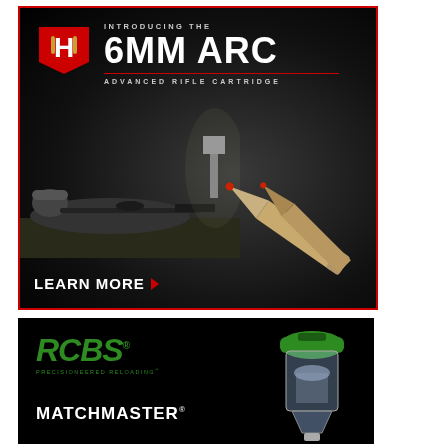[Figure (advertisement): Hornady advertisement for 6MM ARC (Advanced Rifle Cartridge). Dark background showing a person in prone shooting position with a rifle. Bottom right shows two rifle bullets/cartridges. Top left shows the Hornady 'H' logo badge in red and white. Text reads: INTRODUCING THE / 6MM ARC / ADVANCED RIFLE CARTRIDGE / LEARN MORE ▶]
[Figure (advertisement): RCBS advertisement on black background featuring the RCBS logo in green italic text with 'PRECISIONEERED RELOADING' tagline, and MATCHMASTER product name in white bold text. Right side shows a reloading product (appears to be a powder measure or similar equipment) with green top and clear body.]